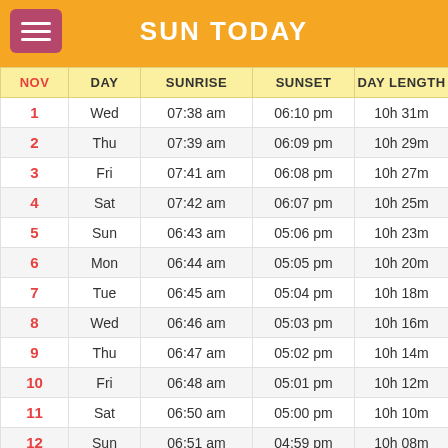SUN TODAY
| NOV | DAY | SUNRISE | SUNSET | DAY LENGTH |
| --- | --- | --- | --- | --- |
| 1 | Wed | 07:38 am | 06:10 pm | 10h 31m |
| 2 | Thu | 07:39 am | 06:09 pm | 10h 29m |
| 3 | Fri | 07:41 am | 06:08 pm | 10h 27m |
| 4 | Sat | 07:42 am | 06:07 pm | 10h 25m |
| 5 | Sun | 06:43 am | 05:06 pm | 10h 23m |
| 6 | Mon | 06:44 am | 05:05 pm | 10h 20m |
| 7 | Tue | 06:45 am | 05:04 pm | 10h 18m |
| 8 | Wed | 06:46 am | 05:03 pm | 10h 16m |
| 9 | Thu | 06:47 am | 05:02 pm | 10h 14m |
| 10 | Fri | 06:48 am | 05:01 pm | 10h 12m |
| 11 | Sat | 06:50 am | 05:00 pm | 10h 10m |
| 12 | Sun | 06:51 am | 04:59 pm | 10h 08m |
| 13 | Mon | 06:52 am | 04:58 pm | 10h 06m |
| 14 | Tue | 06:53 am | 04:58 pm | 10h 04m |